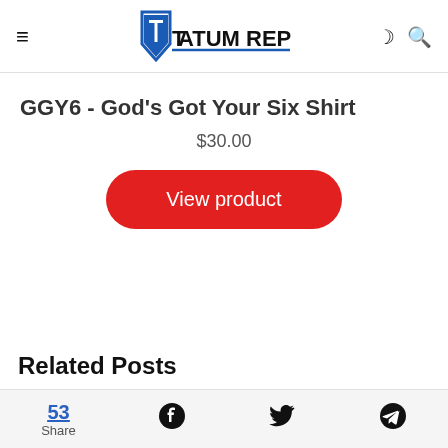Tatum Report
GGY6 - God's Got Your Six Shirt
$30.00
View product
Related Posts
53 Share